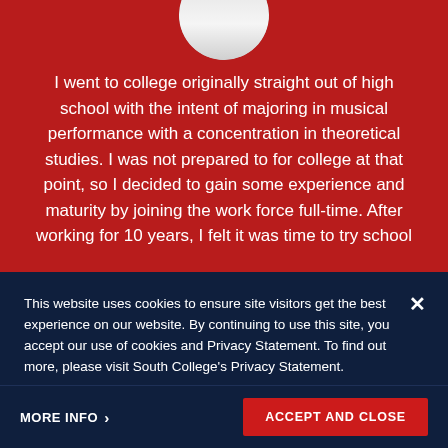[Figure (photo): Circular portrait photo of a person wearing a white shirt, partially visible at top of red background section]
I went to college originally straight out of high school with the intent of majoring in musical performance with a concentration in theoretical studies. I was not prepared to for college at that point, so I decided to gain some experience and maturity by joining the work force full-time. After working for 10 years, I felt it was time to try school
This website uses cookies to ensure site visitors get the best experience on our website. By continuing to use this site, you accept our use of cookies and Privacy Statement. To find out more, please visit South College's Privacy Statement.
MORE INFO >
ACCEPT AND CLOSE